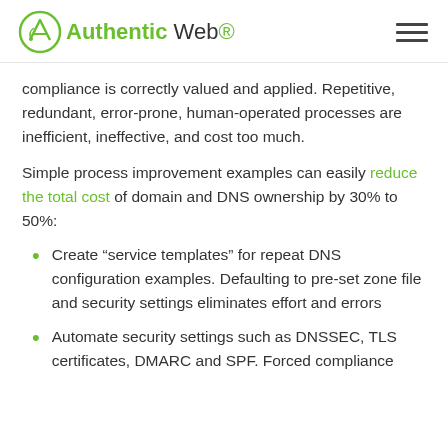Authentic Web
compliance is correctly valued and applied. Repetitive, redundant, error-prone, human-operated processes are inefficient, ineffective, and cost too much.
Simple process improvement examples can easily reduce the total cost of domain and DNS ownership by 30% to 50%:
Create “service templates” for repeat DNS configuration examples. Defaulting to pre-set zone file and security settings eliminates effort and errors
Automate security settings such as DNSSEC, TLS certificates, DMARC and SPF. Forced compliance